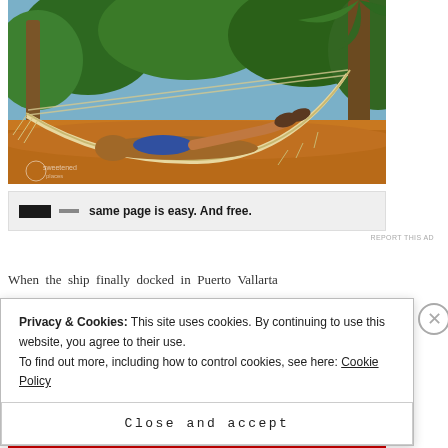[Figure (photo): A person lying in a white rope hammock in a tropical outdoor setting with palm trees and lush green foliage in the background. The person is wearing blue shorts and sandals and resting with legs crossed. The ground beneath is sandy/earthy orange-brown.]
[Figure (screenshot): Partial advertisement banner with blacked-out text on left and bold text reading 'same page is easy. And free.' on a light gray background.]
REPORT THIS AD
When the ship finally docked in Puerto Vallarta
Privacy & Cookies: This site uses cookies. By continuing to use this website, you agree to their use.
To find out more, including how to control cookies, see here: Cookie Policy
Close and accept